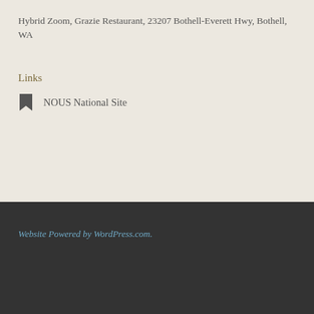Hybrid Zoom, Grazie Restaurant, 23207 Bothell-Everett Hwy, Bothell, WA
Links
NOUS National Site
Website Powered by WordPress.com.